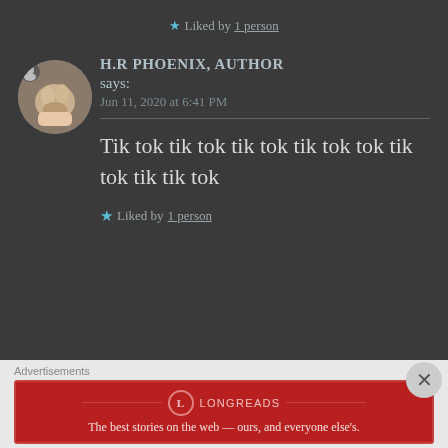★ Liked by 1 person
H.R PHOENIX, AUTHOR says: Jun 11, 2020 at 6:41 PM
[Figure (photo): Circular avatar photo showing a cat's paw being held by a person, with a small person/user icon overlay]
Tik tok tik tok tik tok tik tok tok tik tok tik tik tok
★ Liked by 1 person
Advertisements
[Figure (infographic): Longreads advertisement banner on red background: 'The best stories on the web — ours, and everyone else's.']